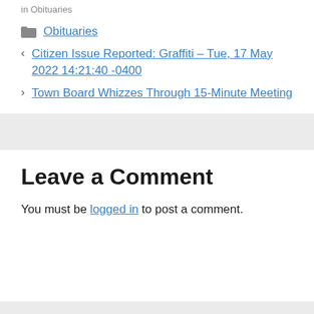in Obituaries
Obituaries
< Citizen Issue Reported: Graffiti – Tue, 17 May 2022 14:21:40 -0400
> Town Board Whizzes Through 15-Minute Meeting
Leave a Comment
You must be logged in to post a comment.